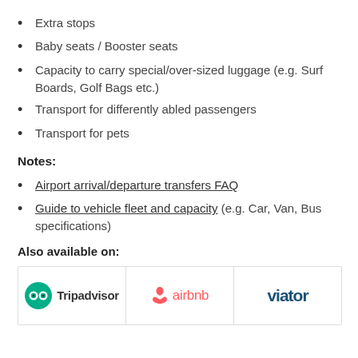Extra stops
Baby seats / Booster seats
Capacity to carry special/over-sized luggage (e.g. Surf Boards, Golf Bags etc.)
Transport for differently abled passengers
Transport for pets
Notes:
Airport arrival/departure transfers FAQ
Guide to vehicle fleet and capacity (e.g. Car, Van, Bus specifications)
Also available on:
[Figure (logo): Three platform logos in a bordered row: Tripadvisor (green circle with owl eyes icon and bold text), Airbnb (red airbnb symbol and red text), Viator (dark teal bold text)]